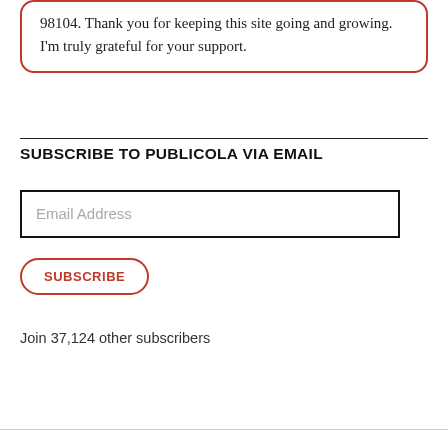98104. Thank you for keeping this site going and growing. I'm truly grateful for your support.
SUBSCRIBE TO PUBLICOLA VIA EMAIL
Email Address
SUBSCRIBE
Join 37,124 other subscribers